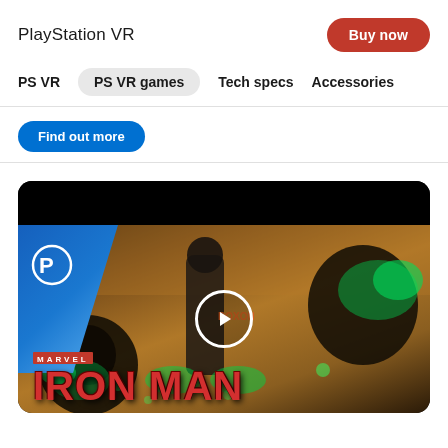PlayStation VR
Buy now
PS VR
PS VR games
Tech specs
Accessories
Find out more
[Figure (screenshot): Marvel Iron Man VR game promotional image showing armored villains with green energy effects and the Marvel Iron Man VR logo, with PlayStation logo in the top-left corner and a video play button overlay.]